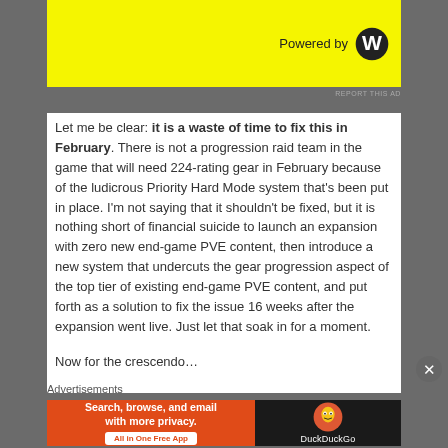[Figure (other): Yellow advertisement banner with 'Powered by WordPress' logo]
REPORT THIS AD
Let me be clear: it is a waste of time to fix this in February. There is not a progression raid team in the game that will need 224-rating gear in February because of the ludicrous Priority Hard Mode system that’s been put in place. I’m not saying that it shouldn’t be fixed, but it is nothing short of financial suicide to launch an expansion with zero new end-game PVE content, then introduce a new system that undercuts the gear progression aspect of the top tier of existing end-game PVE content, and put forth as a solution to fix the issue 16 weeks after the expansion went live. Just let that soak in for a moment.
Now for the crescendo…
Advertisements
[Figure (other): DuckDuckGo advertisement: orange left panel 'Search, browse, and email with more privacy. All in One Free App' and dark right panel with DuckDuckGo duck logo]